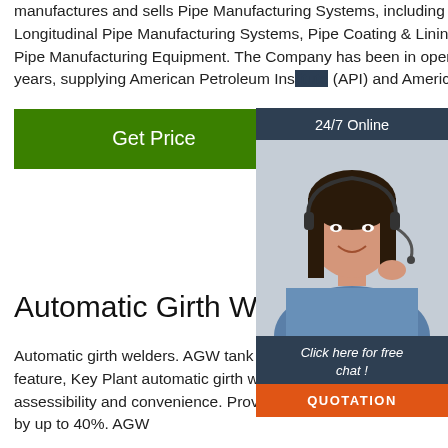manufactures and sells Pipe Manufacturing Systems, including Spiral and Longitudinal Pipe Manufacturing Systems, Pipe Coating & Lining Systems, Ancillary Pipe Manufacturing Equipment. The Company has been in operation for over forty years, supplying American Petroleum Institute (API) and American ...
[Figure (other): Customer service chat widget overlay with a photo of a smiling woman wearing a headset, a '24/7 Online' header, 'Click here for free chat!' text, and an orange QUOTATION button.]
Automatic Girth Welders Ac...
Automatic girth welders. AGW tank welders. 3 o'clock welders. With ergonomics a key feature, Key Plant automatic girth welders (3 o'clock welder) are designed for efficiency, assessibility and convenience. Proven to cut the welding time of storage tank fabrication by up to 40%. AGW